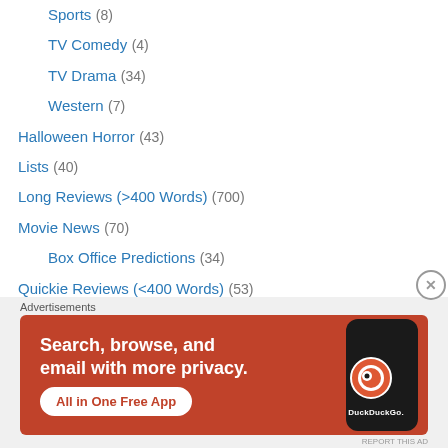Sports (8)
TV Comedy (4)
TV Drama (34)
Western (7)
Halloween Horror (43)
Lists (40)
Long Reviews (>400 Words) (700)
Movie News (70)
Box Office Predictions (34)
Quickie Reviews (<400 Words) (53)
Television Reviews (39)
Leave It (2)
Like It (5)
Love It (6)
[Figure (infographic): DuckDuckGo advertisement banner with orange background: 'Search, browse, and email with more privacy. All in One Free App' with phone image showing DuckDuckGo logo]